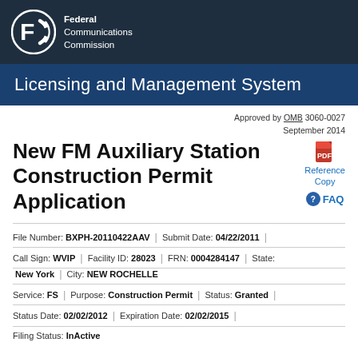Federal Communications Commission
Licensing and Management System
Approved by OMB 3060-0027 September 2014
New FM Auxiliary Station Construction Permit Application
Reference Copy
FAQ
| File Number: | BXPH-20110422AAV | Submit Date: | 04/22/2011 |
| Call Sign: | WVIP | Facility ID: | 28023 | FRN: | 0004284147 | State: | New York | City: | NEW ROCHELLE |
| Service: | FS | Purpose: | Construction Permit | Status: | Granted |
| Status Date: | 02/02/2012 | Expiration Date: | 02/02/2015 |
| Filing Status: | InActive |